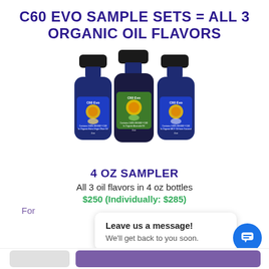C60 EVO SAMPLE SETS = ALL 3 ORGANIC OIL FLAVORS
[Figure (photo): Three dark blue glass bottles of C60 Evo organic oil products arranged together. Left bottle has olive oil label, center bottle has avocado oil label (green label), right bottle has MCT coconut oil label.]
4 OZ SAMPLER
All 3 oil flavors in 4 oz bottles
$250 (Individually: $285)
For
Leave us a message! We'll get back to you soon.